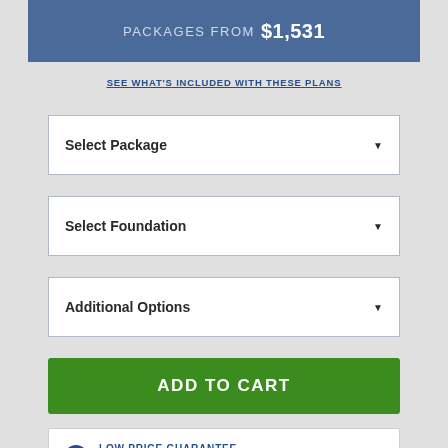PACKAGES FROM $1,531
SEE WHAT'S INCLUDED WITH THESE PLANS
Select Package
Select Foundation
Additional Options
ADD TO CART
LOW PRICE GUARANTEE
Find a lower price and we'll beat it by 10%
SEE DETAILS